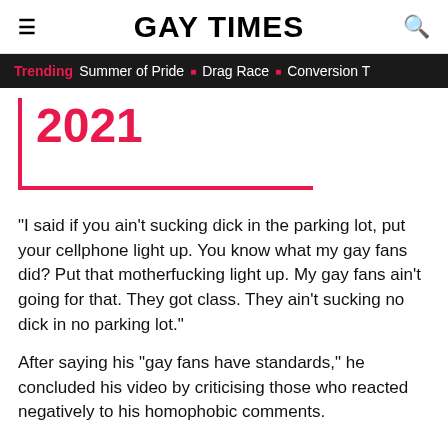GAY TIMES
Trending  Summer of Pride  Drag Race  Conversion T
2021
“I said if you ain’t sucking dick in the parking lot, put your cellphone light up. You know what my gay fans did? Put that motherfucking light up. My gay fans ain’t going for that. They got class. They ain’t sucking no dick in no parking lot.”
After saying his “gay fans have standards,” he concluded his video by criticising those who reacted negatively to his homophobic comments.